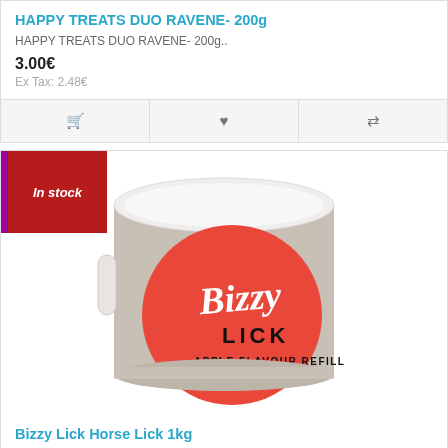HAPPY TREATS DUO RAVENE- 200g
HAPPY TREATS DUO RAVENE- 200g..
3.00€
Ex Tax: 2.48€
[Figure (photo): Product image of Bizzy Lick Horse Lick 1kg container with red label showing 'Bizzy LICK APPLE FLAVOUR REFILL']
In stock
Bizzy Lick Horse Lick 1kg